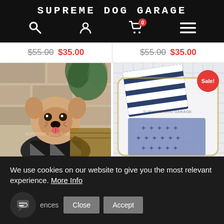SUPREME DOG GARAGE
$55.00 $35.00   $55.00 $35.00
[Figure (photo): French Bulldog wearing a patterned sweater, sitting outdoors near a wicker basket and plants]
[Figure (photo): Dog clothing items with blue and white stripes and star patterns laid flat on a white surface, Sale! badge visible, Supreme Dog Garage watermark]
We use cookies on our website to give you the most relevant experience. More Info
ences
Close
Accept